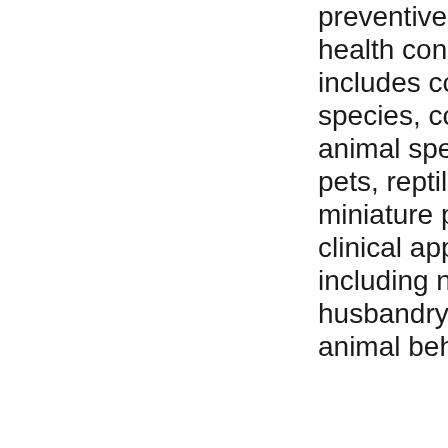preventive care and herd-health concepts; exposure includes companion animal species, common large animal species, pocket pets, reptiles, camelids, miniature pigs and birds; clinical application of topics including neonatal care, husbandry practices, animal behavior,